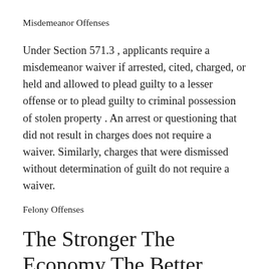Misdemeanor Offenses
Under Section 571.3 , applicants require a misdemeanor waiver if arrested, cited, charged, or held and allowed to plead guilty to a lesser offense or to plead guilty to criminal possession of stolen property . An arrest or questioning that did not result in charges does not require a waiver. Similarly, charges that were dismissed without determination of guilt do not require a waiver.
Felony Offenses
The Stronger The Economy The Better Your Chances Are